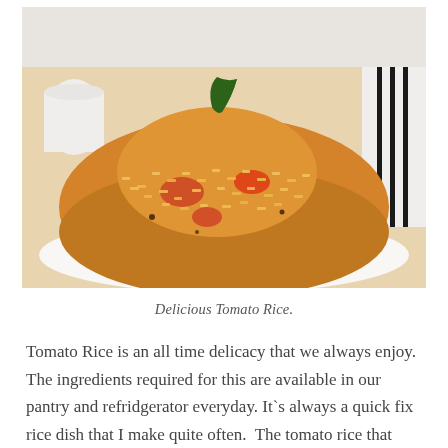[Figure (photo): A close-up photograph of a mound of tomato rice (orange-tinted basmati rice cooked with tomatoes) plated on a white plate, garnished with a curry leaf on top. A white mug and a striped cloth/napkin are visible in the background.]
Delicious Tomato Rice.
Tomato Rice is an all time delicacy that we always enjoy. The ingredients required for this are available in our pantry and refridgerator everyday. It`s always a quick fix rice dish that I make quite often.  The tomato rice that amma used to make was more simple, but over the years, I have rehashed it to make it a lot more flavourful and